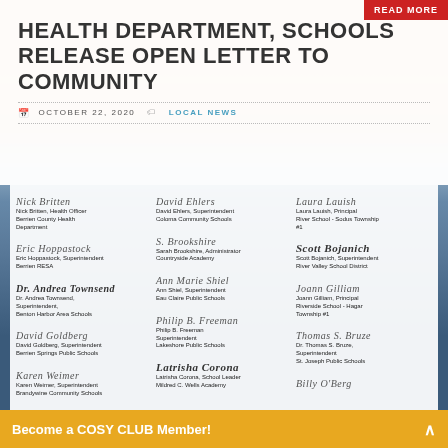READ MORE
HEALTH DEPARTMENT, SCHOOLS RELEASE OPEN LETTER TO COMMUNITY
OCTOBER 22, 2020  LOCAL NEWS
[Figure (photo): Scanned document showing multiple signatures from health and school officials including Nick Britten Health Officer Berrien County Health Department, Eric Hoppastock Superintendent Berrien RESA, Dr. Andrea Townsend Superintendent Benton Harbor Area Schools, David Goldberg Superintendent Berrien Springs Public Schools, Karen Weimer Superintendent Brandywine Community Schools, David Ehlers Superintendent Coloma Community Schools, Sarah Brookshire Administrator Countryside Academy, Ann Shiel Superintendent Eau Claire Public Schools, Philip B. Freeman Superintendent Lakeshore Public Schools, Latrisha Corona School Leader Mildred C. Wells Academy, Laura Lauish Principal River School Sodus Township, Scott Bojanich Superintendent River Valley School District, Joann Gilliam Principal Riverside School Hagar Township, Dr. Thomas S. Bruze Superintendent St. Joseph Public Schools]
Become a COSY CLUB Member!